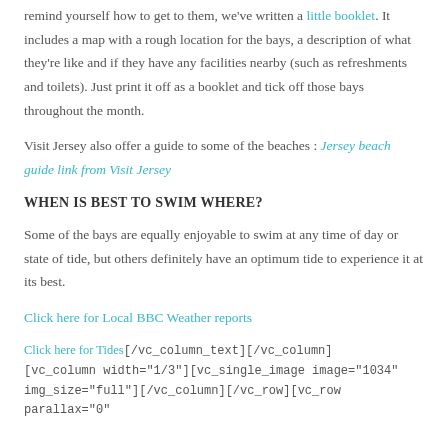remind yourself how to get to them, we've written a little booklet. It includes a map with a rough location for the bays, a description of what they're like and if they have any facilities nearby (such as refreshments and toilets). Just print it off as a booklet and tick off those bays throughout the month.
Visit Jersey also offer a guide to some of the beaches : Jersey beach guide link from Visit Jersey
WHEN IS BEST TO SWIM WHERE?
Some of the bays are equally enjoyable to swim at any time of day or state of tide, but others definitely have an optimum tide to experience it at its best.
Click here for Local BBC Weather reports
Click here for Tides[/vc_column_text][/vc_column][vc_column width="1/3"][vc_single_image image="1034" img_size="full"][/vc_column][/vc_row][vc_row parallax="0"